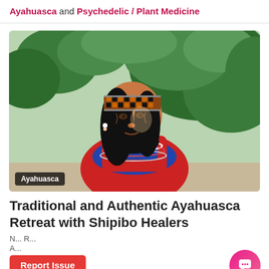Ayahuasca and Psychedelic / Plant Medicine
[Figure (photo): Elderly indigenous Shipibo woman wearing a traditional woven headband with orange-black geometric patterns and multiple colorful bead necklaces, dressed in a red garment with blue accents, standing before green tree foliage. A dark badge reading 'Ayahuasca' appears in the lower-left corner of the image.]
Traditional and Authentic Ayahuasca Retreat with Shipibo Healers
N... R...
A...
Report Issue